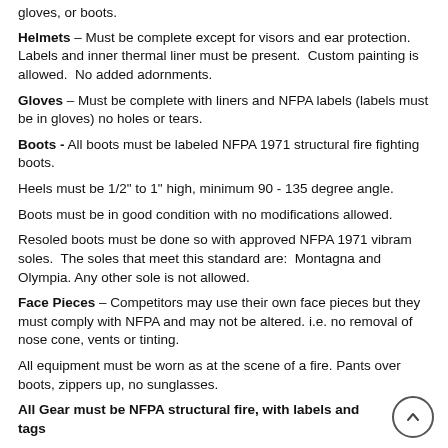gloves, or boots.
Helmets – Must be complete except for visors and ear protection. Labels and inner thermal liner must be present.  Custom painting is allowed.  No added adornments.
Gloves – Must be complete with liners and NFPA labels (labels must be in gloves) no holes or tears.
Boots - All boots must be labeled NFPA 1971 structural fire fighting boots.
Heels must be 1/2" to 1" high, minimum 90 - 135 degree angle.
Boots must be in good condition with no modifications allowed.
Resoled boots must be done so with approved NFPA 1971 vibram soles.  The soles that meet this standard are:  Montagna and Olympia.  Any other sole is not allowed.
Face Pieces – Competitors may use their own face pieces but they must comply with NFPA and may not be altered. i.e. no removal of nose cone, vents or tinting.
All equipment must be worn as at the scene of a fire. Pants over boots, zippers up, no sunglasses.
All Gear must be NFPA structural fire, with labels and tags